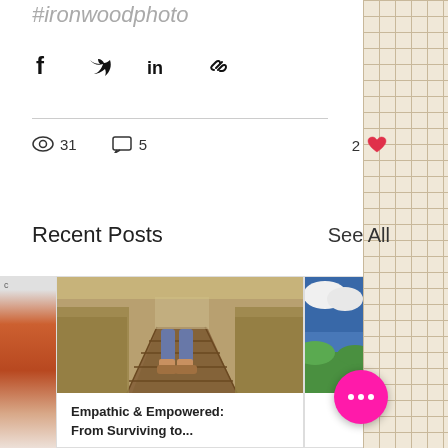#ironwoodphoto
[Figure (screenshot): Social share icons: Facebook, Twitter, LinkedIn, Link/chain]
31 views, 5 comments, 2 likes
Recent Posts
See All
[Figure (photo): Photo of person's legs and sneakers walking on a wooden boardwalk path through tall grass]
Empathic & Empowered: From Surviving to...